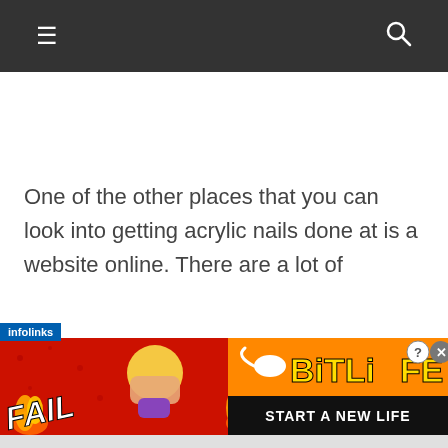Navigation bar with hamburger menu and search icon
One of the other places that you can look into getting acrylic nails done at is a website online. There are a lot of
[Figure (infographic): BitLife advertisement banner with 'FAIL' text, cartoon character facepalming, flame graphic, BitLife logo with sperm icon, and 'START A NEW LIFE' tagline. Infolinks label in top-left corner. Close (X) and question mark (?) buttons in top-right.]